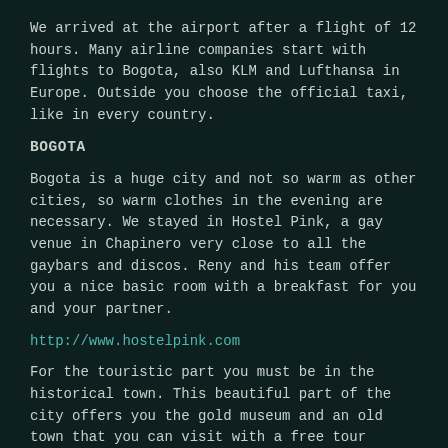We arrived at the airport after a flight of 12 hours. Many airline companies start with flights to Bogota, also KLM and Lufthansa in Europe. Outside you choose the official taxi, like in every country.
BOGOTA
Bogota is a huge city and not so warm as other cities, so warm clothes in the evening are necessary. We stayed in Hostel Pink, a gay venue in Chapinero very close to all the gaybars and discos. Reny and his team offer you a nice basic room with a breakfast for you and your partner.
http://www.hostelpink.com
For the touristic part you must be in the historical town. This beautiful part of the city offers you the gold museum and an old town that you can visit with a free tour offered by Bogota's touristic office. Also visit the monastery on the mountain. You can take a train or a cable. Enjoy the view on the mountain. It is amazing!